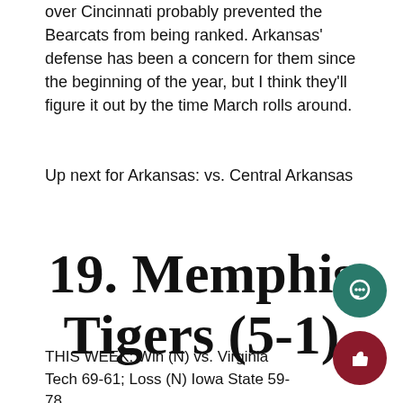over Cincinnati probably prevented the Bearcats from being ranked. Arkansas' defense has been a concern for them since the beginning of the year, but I think they'll figure it out by the time March rolls around.
Up next for Arkansas: vs. Central Arkansas
19. Memphis Tigers (5-1)
THIS WEEK: Win (N) vs. Virginia Tech 69-61; Loss (N) Iowa State 59-78